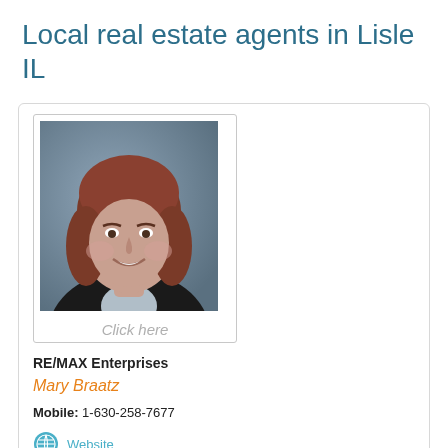Local real estate agents in Lisle IL
[Figure (photo): Professional headshot of Mary Braatz, a woman with reddish-brown shoulder-length hair, wearing a black blazer over a light blue collared shirt, smiling, against a blue-grey studio background.]
Click here
RE/MAX Enterprises
Mary Braatz
Mobile: 1-630-258-7677
Website
Agent Listings
Contact Mary Braatz